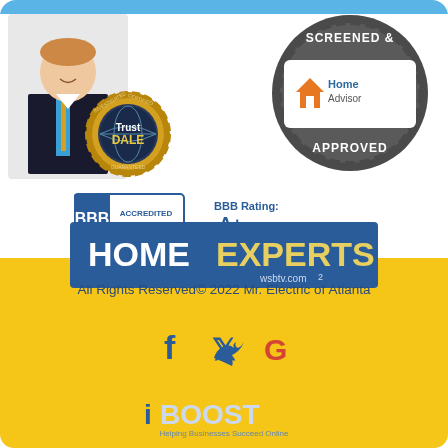[Figure (logo): TrustDALE badge with man in suit — Investigated, Certified, Guaranteed]
[Figure (logo): HomeAdvisor Screened & Approved badge]
[Figure (logo): BBB Accredited Business logo with BBB Rating A+ As of 8/30/2022 and Click for Profile text]
[Figure (logo): HomeExperts wsbtv.com2 banner]
All Rights Reserved© 2022 Mr. Electric of Atlanta
[Figure (logo): Social media icons: Facebook, Twitter, Google]
[Figure (logo): iBoost logo — Helping Businesses Succeed Online]